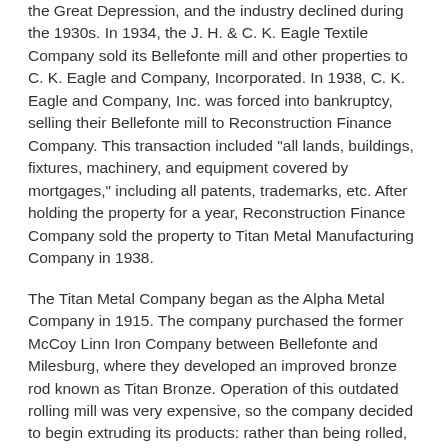the Great Depression, and the industry declined during the 1930s. In 1934, the J. H. & C. K. Eagle Textile Company sold its Bellefonte mill and other properties to C. K. Eagle and Company, Incorporated. In 1938, C. K. Eagle and Company, Inc. was forced into bankruptcy, selling their Bellefonte mill to Reconstruction Finance Company. This transaction included "all lands, buildings, fixtures, machinery, and equipment covered by mortgages," including all patents, trademarks, etc. After holding the property for a year, Reconstruction Finance Company sold the property to Titan Metal Manufacturing Company in 1938.
The Titan Metal Company began as the Alpha Metal Company in 1915. The company purchased the former McCoy Linn Iron Company between Bellefonte and Milesburg, where they developed an improved bronze rod known as Titan Bronze. Operation of this outdated rolling mill was very expensive, so the company decided to begin extruding its products: rather than being rolled, bars of various shapes were made by forcing billets of hot brass through dies to give the bars the desired shape. This change required a new forging plant, so the Titan Metal Company established a new facility on the site of the former Valentine iron works along Logan Branch southeast of Bellefonte Borough.